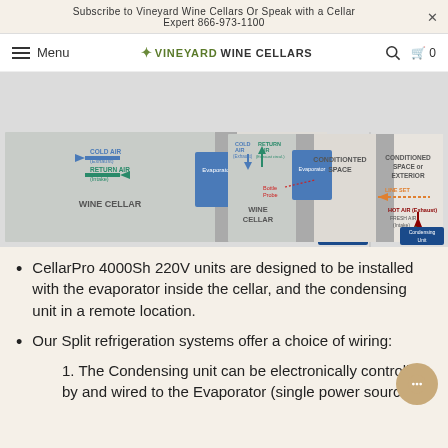Subscribe to Vineyard Wine Cellars Or Speak with a Cellar Expert 866-973-1100
Menu | VINEYARD WINE CELLARS | 0
[Figure (schematic): Two diagrams showing split refrigeration system configurations. Left diagram: Wine Cellar with evaporator inside, cold air exhaust and return air intake arrows, conditioned space or exterior (Sx Only) label, line set, hot air exhaust, fresh air intake, and condensing unit. Right diagram: Similar configuration with wine cellar, conditioned space, cold air and return air arrows, bottle probe, line set, hot air exhaust, fresh air intake, and condensing unit.]
CellarPro 4000Sh 220V units are designed to be installed with the evaporator inside the cellar, and the condensing unit in a remote location.
Our Split refrigeration systems offer a choice of wiring:
1. The Condensing unit can be electronically controlled by and wired to the Evaporator (single power source on